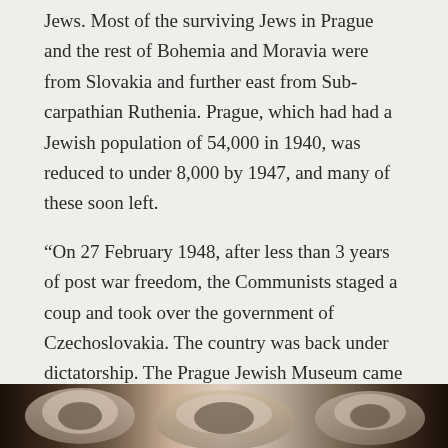Jews. Most of the surviving Jews in Prague and the rest of Bohemia and Moravia were from Slovakia and further east from Sub-carpathian Ruthenia. Prague, which had had a Jewish population of 54,000 in 1940, was reduced to under 8,000 by 1947, and many of these soon left.
“On 27 February 1948, after less than 3 years of post war freedom, the Communists staged a coup and took over the government of Czechoslovakia. The country was back under dictatorship. The Prague Jewish Museum came under government control, and was staffed mainly by non-Jewish curators. The Torah Scrolls in the Michle Synagogue building also came under public ownership. The Jewish Museum put on the exhibition of the collected Judaica.
“The 18th century Michle Synagogue, with its thick stone
[Figure (photo): Bottom partial strip of a photograph showing what appears to be decorative or religious artifacts, partially visible at the bottom of the page.]